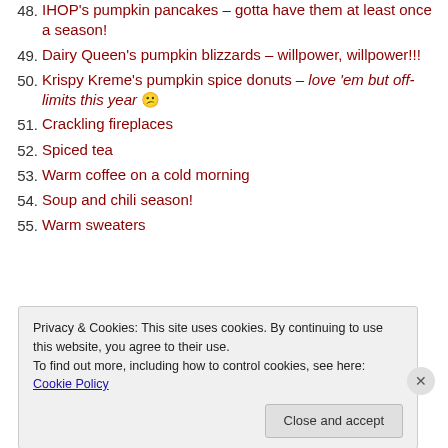48. IHOP's pumpkin pancakes – gotta have them at least once a season!
49. Dairy Queen's pumpkin blizzards – willpower, willpower!!!
50. Krispy Kreme's pumpkin spice donuts – love 'em but off-limits this year 😕
51. Crackling fireplaces
52. Spiced tea
53. Warm coffee on a cold morning
54. Soup and chili season!
55. Warm sweaters
Privacy & Cookies: This site uses cookies. By continuing to use this website, you agree to their use. To find out more, including how to control cookies, see here: Cookie Policy